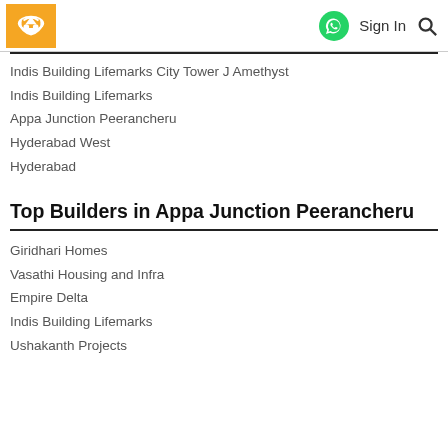Sign In
Indis Building Lifemarks City Tower J Amethyst
Indis Building Lifemarks
Appa Junction Peerancheru
Hyderabad West
Hyderabad
Top Builders in Appa Junction Peerancheru
Giridhari Homes
Vasathi Housing and Infra
Empire Delta
Indis Building Lifemarks
Ushakanth Projects